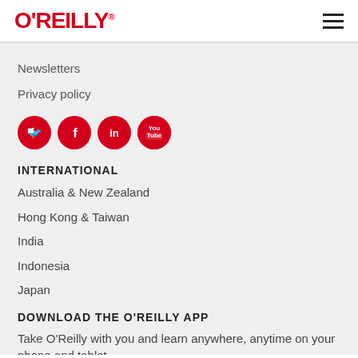O'REILLY®
Newsletters
Privacy policy
[Figure (illustration): Four red circular social media icons: Twitter, Facebook, LinkedIn, YouTube]
INTERNATIONAL
Australia & New Zealand
Hong Kong & Taiwan
India
Indonesia
Japan
DOWNLOAD THE O'REILLY APP
Take O'Reilly with you and learn anywhere, anytime on your phone and tablet.